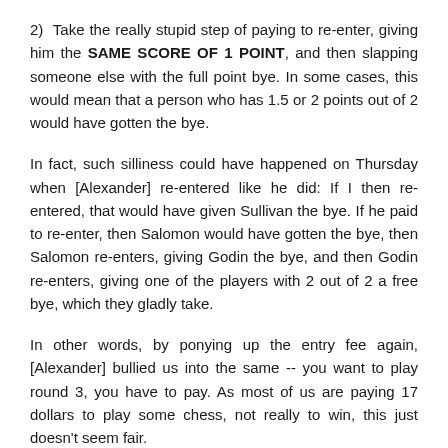2)  Take the really stupid step of paying to re-enter, giving him the SAME SCORE OF 1 POINT, and then slapping someone else with the full point bye. In some cases, this would mean that a person who has 1.5 or 2 points out of 2 would have gotten the bye.
In fact, such silliness could have happened on Thursday when [Alexander] re-entered like he did: If I then re-entered, that would have given Sullivan the bye. If he paid to re-enter, then Salomon would have gotten the bye, then Salomon re-enters, giving Godin the bye, and then Godin re-enters, giving one of the players with 2 out of 2 a free bye, which they gladly take.
In other words, by ponying up the entry fee again, [Alexander] bullied us into the same -- you want to play round 3, you have to pay. As most of us are paying 17 dollars to play some chess, not really to win, this just doesn't seem fair.